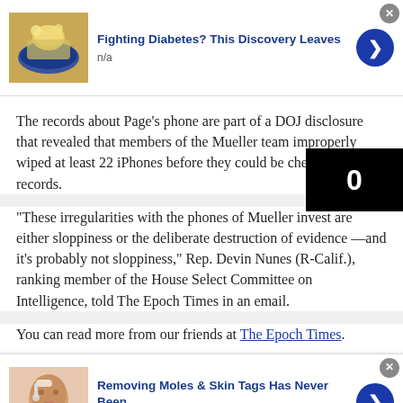[Figure (screenshot): Ad card with food image thumbnail for 'Fighting Diabetes? This Discovery Leaves']
The records about Page's phone are part of a DOJ disclosure that revealed that members of the Mueller team improperly wiped at least 22 iPhones before they could be checked for records.
“These irregularities with the phones of Mueller invest are either sloppiness or the deliberate destruction of evidence —and it’s probably not sloppiness,” Rep. Devin Nunes (R-Calif.), ranking member of the House Select Committee on Intelligence, told The Epoch Times in an email.
You can read more from our friends at The Epoch Times.
[Figure (screenshot): Ad card with face/person image thumbnail for 'Removing Moles & Skin Tags Has Never Been']